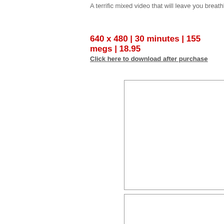A terrific mixed video that will leave you breathless
640 x 480 | 30 minutes | 155 megs | 18.95
Click here to download after purchase
[Figure (other): Empty bordered rectangle placeholder box 1]
[Figure (other): Empty bordered rectangle placeholder box 2]